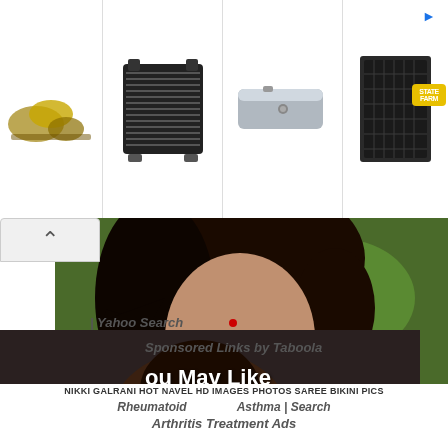[Figure (screenshot): Top advertisement strip showing four product images: ratchet straps/leaves, black radiator, metal fuel/coolant tank, and black mesh heat exchanger panel. Arrow icon and logo on right side.]
[Figure (photo): Large background photo of an Asian woman with dark hair against a blurred green outdoor background.]
You May Like
[Figure (photo): Thumbnail image of a person's palm/hand showing arthritis symptoms.]
[Figure (illustration): Cartoon illustration of a person clutching their chest/stomach, relating to eosinophilic asthma.]
Research Rheumatoid Arthritis...
What Is Eosinophilic Asthma?...
NIKKI GALRANI HOT NAVEL HD IMAGES PHOTOS SAREE BIKINI PICS
Rheumatoid
Asthma | Search
Arthritis Treatment Ads
| Yahoo Search
Sponsored Links by Taboola
[Figure (photo): Partial bottom photo strip showing a person's face/head at bottom of page.]